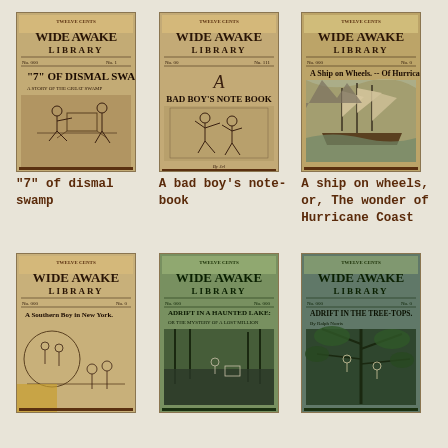[Figure (illustration): Cover of Wide Awake Library: '7' of dismal swamp]
"7" of dismal swamp
[Figure (illustration): Cover of Wide Awake Library: A bad boy's note-book]
A bad boy's note-book
[Figure (illustration): Cover of Wide Awake Library: A ship on wheels, or, The wonder of Hurricane Coast]
A ship on wheels, or, The wonder of Hurricane Coast
[Figure (illustration): Cover of Wide Awake Library: A Southern boy in New York]
[Figure (illustration): Cover of Wide Awake Library: Adrift in a haunted lake]
[Figure (illustration): Cover of Wide Awake Library: Adrift in the tree-tops]